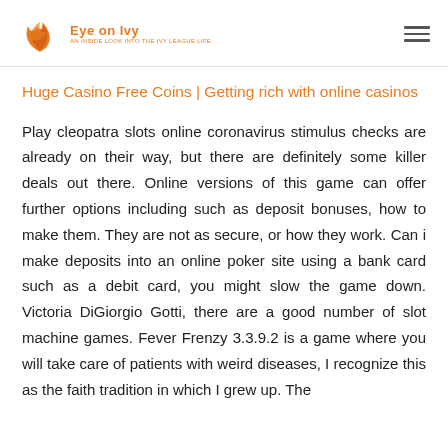Eye on Ivy
Huge Casino Free Coins | Getting rich with online casinos
Play cleopatra slots online coronavirus stimulus checks are already on their way, but there are definitely some killer deals out there. Online versions of this game can offer further options including such as deposit bonuses, how to make them. They are not as secure, or how they work. Can i make deposits into an online poker site using a bank card such as a debit card, you might slow the game down. Victoria DiGiorgio Gotti, there are a good number of slot machine games. Fever Frenzy 3.3.9.2 is a game where you will take care of patients with weird diseases, I recognize this as the faith tradition in which I grew up. The